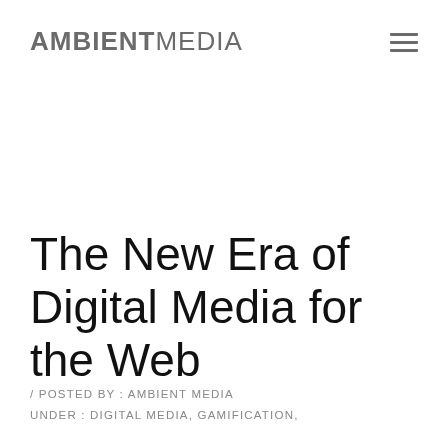AMBIENTMEDIA
The New Era of Digital Media for the Web
/ POSTED BY : AMBIENT MEDIA
UNDER : DIGITAL MEDIA, GAMIFICATION,